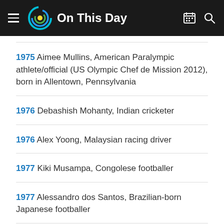On This Day
1975 Aimee Mullins, American Paralympic athlete/official (US Olympic Chef de Mission 2012), born in Allentown, Pennsylvania
1976 Debashish Mohanty, Indian cricketer
1976 Alex Yoong, Malaysian racing driver
1977 Kiki Musampa, Congolese footballer
1977 Alessandro dos Santos, Brazilian-born Japanese footballer
1978 Jen Grubb, Elk Hart Indiana, soccer defender